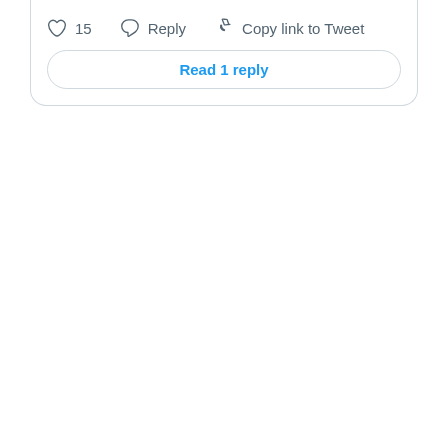[Figure (screenshot): Bottom portion of a Twitter/X tweet card showing action bar with heart icon and '15' likes, Reply button, Copy link to Tweet button, and a 'Read 1 reply' button below.]